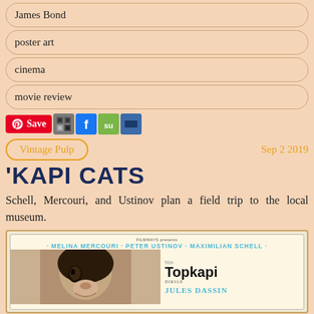James Bond
poster art
cinema
movie review
[Figure (other): Social sharing bar with Pinterest Save button, and icons for social networks including Facebook, StumbleUpon, and Delicious]
Vintage Pulp   Sep 2 2019
'KAPI CATS
Schell, Mercouri, and Ustinov plan a field trip to the local museum.
[Figure (photo): Movie poster for Topkapi directed by Jules Dassin, featuring Melina Mercouri, Peter Ustinov, and Maximilian Schell. Shows a close-up of a face and the film title in bold letters.]